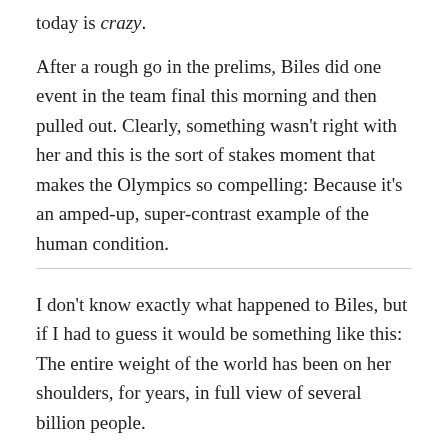today is crazy.
After a rough go in the prelims, Biles did one event in the team final this morning and then pulled out. Clearly, something wasn't right with her and this is the sort of stakes moment that makes the Olympics so compelling: Because it's an amped-up, super-contrast example of the human condition.
I don't know exactly what happened to Biles, but if I had to guess it would be something like this: The entire weight of the world has been on her shoulders, for years, in full view of several billion people.